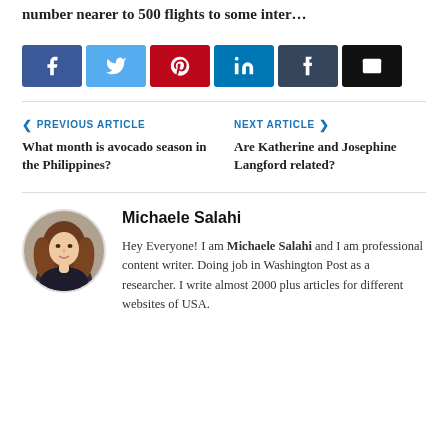number nearer to 500 flights to some inter…
[Figure (infographic): Social share buttons: Facebook (blue), Twitter (light blue), Pinterest (red), LinkedIn (dark blue), Tumblr (dark slate), Email (black)]
< PREVIOUS ARTICLE
What month is avocado season in the Philippines?
NEXT ARTICLE >
Are Katherine and Josephine Langford related?
Michaele Salahi
[Figure (photo): Circular portrait photo of Michaele Salahi, a woman with long brown/auburn hair, wearing a dark top.]
Hey Everyone! I am Michaele Salahi and I am professional content writer. Doing job in Washington Post as a researcher. I write almost 2000 plus articles for different websites of USA.